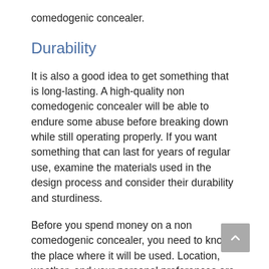comedogenic concealer.
Durability
It is also a good idea to get something that is long-lasting. A high-quality non comedogenic concealer will be able to endure some abuse before breaking down while still operating properly. If you want something that can last for years of regular use, examine the materials used in the design process and consider their durability and sturdiness.
Before you spend money on a non comedogenic concealer, you need to know the place where it will be used. Location, weather, and your personal preferences are all major factors that determine what type of non comedogenic